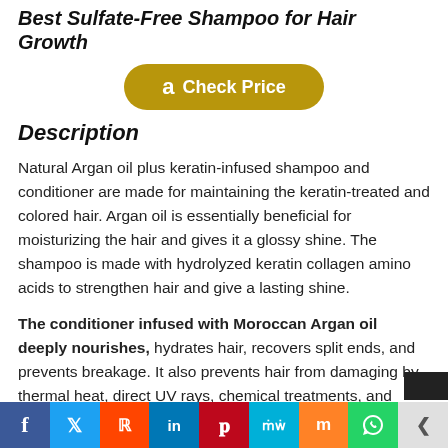Best Sulfate-Free Shampoo for Hair Growth
[Figure (other): Amazon Check Price button with gold/yellow rounded rectangle background]
Description
Natural Argan oil plus keratin-infused shampoo and conditioner are made for maintaining the keratin-treated and colored hair. Argan oil is essentially beneficial for moisturizing the hair and gives it a glossy shine. The shampoo is made with hydrolyzed keratin collagen amino acids to strengthen hair and give a lasting shine.
The conditioner infused with Moroccan Argan oil deeply nourishes, hydrates hair, recovers split ends, and prevents breakage. It also prevents hair from damaging by thermal heat, direct UV rays, chemical treatments, and over-processing. The ve
[Figure (other): Social media sharing bar with icons for Facebook, Twitter, Reddit, LinkedIn, Pinterest, MeWe, Mix, WhatsApp, Share]